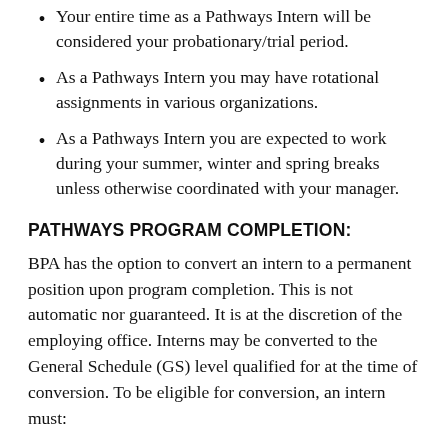Your entire time as a Pathways Intern will be considered your probationary/trial period.
As a Pathways Intern you may have rotational assignments in various organizations.
As a Pathways Intern you are expected to work during your summer, winter and spring breaks unless otherwise coordinated with your manager.
PATHWAYS PROGRAM COMPLETION:
BPA has the option to convert an intern to a permanent position upon program completion. This is not automatic nor guaranteed. It is at the discretion of the employing office. Interns may be converted to the General Schedule (GS) level qualified for at the time of conversion. To be eligible for conversion, an intern must:
Must be a U.S. Citizen